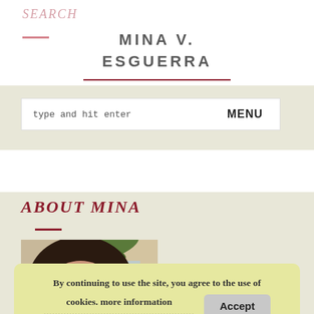SEARCH
MINA V.
ESGUERRA
type and hit enter  MENU
ABOUT MINA
[Figure (photo): Close-up photo of a woman with long dark hair, outdoors with palm tree and building in background]
By continuing to use the site, you agree to the use of cookies. more information
Accept